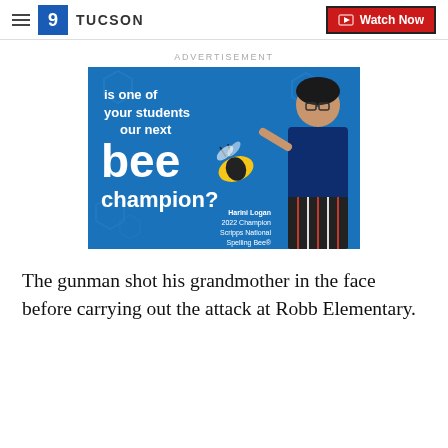9 TUCSON | Watch Now
ADVERTISEMENT
[Figure (illustration): Scripps National Spelling Bee advertisement on blue background featuring Harini Logan, 2022 Champion. Text reads: 'is one of your students our next bee champion?' with a cartoon bee graphic.]
The gunman shot his grandmother in the face before carrying out the attack at Robb Elementary.